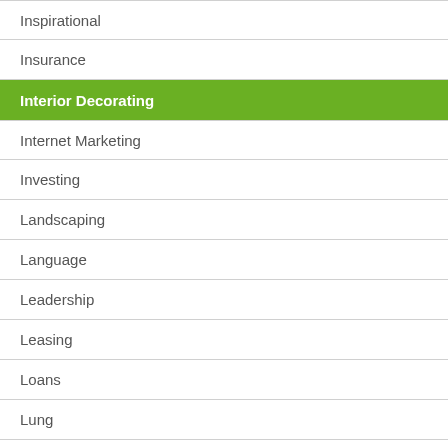Inspirational
Insurance
Interior Decorating
Internet Marketing
Investing
Landscaping
Language
Leadership
Leasing
Loans
Lung
Management